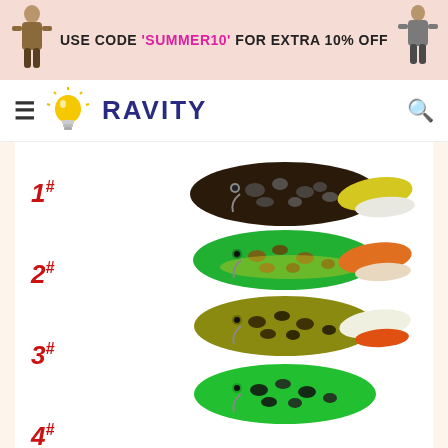USE CODE 'SUMMER10' FOR EXTRA 10% OFF
[Figure (logo): Ravity brand logo with lightbulb icon and hamburger menu, search icon]
[Figure (photo): Four frog fishing lures labeled 1#, 2#, 3#, 4# in red italic text. Lure 1 is dark brown/black with white spots and yellow legs. Lure 2 is bright green with brown spots and orange legs. Lure 3 is olive/yellow-green with dark spots and white legs. Lure 4 is bright green with black spots. Product photo on white background inside a cream/peach-colored page section.]